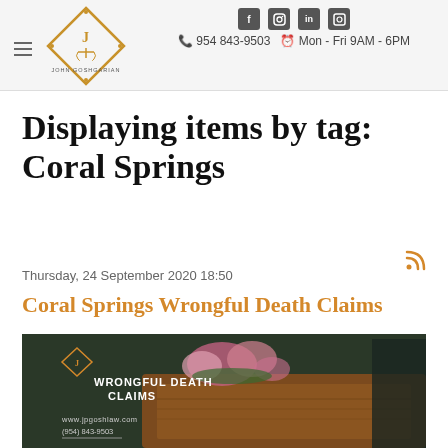John Goshgarian | 954 843-9503 | Mon - Fri 9AM - 6PM | social icons
Displaying items by tag: Coral Springs
Thursday, 24 September 2020 18:50
Coral Springs Wrongful Death Claims
[Figure (photo): Photo of a coffin with flowers and a funeral setting, overlaid with text reading WRONGFUL DEATH CLAIMS, www.jpgoshlaw.com, (954) 843-9503, and a diamond-shaped logo]